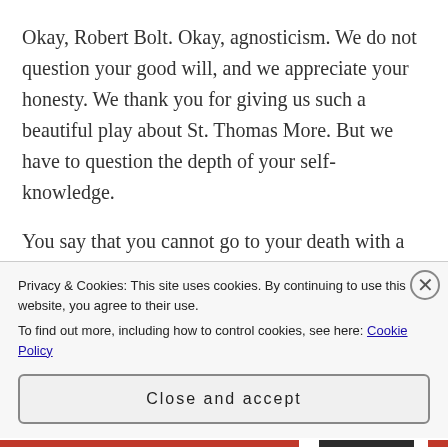Okay, Robert Bolt. Okay, agnosticism. We do not question your good will, and we appreciate your honesty. We thank you for giving us such a beautiful play about St. Thomas More. But we have to question the depth of your self-knowledge.
You say that you cannot go to your death with a smile on your face out of loyalty to the Vicar of Christ. You say you cannot simply and unequivocally affirm that Christ dwells in heaven, and that he rewards those who serve Him faithfully. You say the modern intellectual situation does not
Privacy & Cookies: This site uses cookies. By continuing to use this website, you agree to their use.
To find out more, including how to control cookies, see here: Cookie Policy
Close and accept